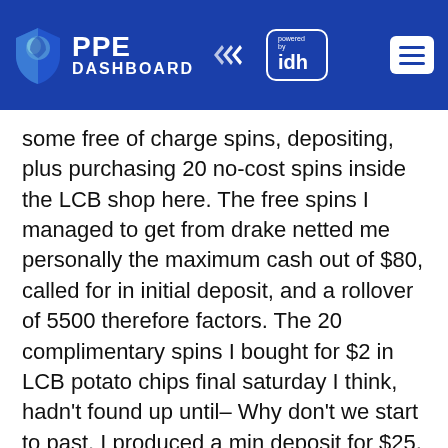PPE DASHBOARD powered by idh
some free of charge spins, depositing, plus purchasing 20 no-cost spins inside the LCB shop here. The free spins I managed to get from drake netted me personally the maximum cash out of $80, called for in initial deposit, and a rollover of 5500 therefore factors. The 20 complimentary spins I bought for $2 in LCB potato chips final saturday I think, hadn't found up until– Why don't we start to past. I produced a min deposit for $25, received my personal $80 added bonus, and started spinning away within my recent preferred position, TImeBender, to attempt to achieve rollover greatness(never got indeed there before).